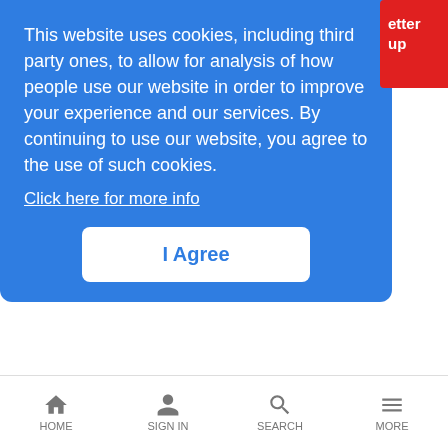This website uses cookies, including third party ones, to allow for analysis of how people use our website in order to improve your experience and our services. By continuing to use our website, you agree to the use of such cookies. Click here for more info
I Agree
Nuggets from Day 1 of the LR Ethernet Expo
Metasploit to Go Wireless
LR Mobile News Analysis | 10/23/2006
Wireless device-driver software set to emerge as the next big petri dish for exploits, attacks
HOME  Sign In  SEARCH  MORE